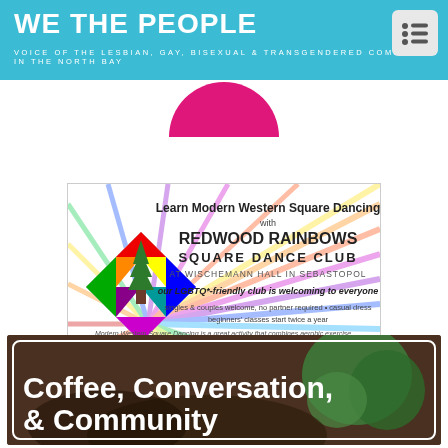WE THE PEOPLE — VOICE OF THE LESBIAN, GAY, BISEXUAL & TRANSGENDERED COMMUNITY IN THE NORTH BAY
[Figure (illustration): Redwood Rainbows Square Dance Club advertisement with rainbow sunburst background and evergreen tree logo. Text: Learn Modern Western Square Dancing with Redwood Rainbows Square Dance Club at Wischemann Hall in Sebastopol. Our LGBTQ*-friendly club is welcoming to everyone. Singles & couples welcome, no partner required • casual dress. Beginners' classes start twice a year. Modern Western Square Dancing is a great activity that combines aerobic exercise, real-time puzzle-solving, and socializing. Find out more at www.redwoodrainbows.org or email us at contact@redwoodrainbows.org]
[Figure (illustration): Coffee, Conversation, & Community advertisement with dark background showing hands holding coffee mugs]